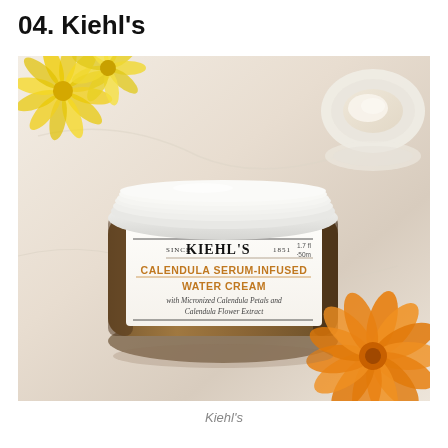04. Kiehl's
[Figure (photo): Product photo of Kiehl's Calendula Serum-Infused Water Cream jar (1.7 fl oz / 50ml) on a marble surface, surrounded by yellow and orange calendula flowers and a cream dish in the background. The jar has a white label reading 'SINCE KIEHL'S 1851 / CALENDULA SERUM-INFUSED / WATER CREAM / with Micronized Calendula Petals and Calendula Flower Extract']
Kiehl's